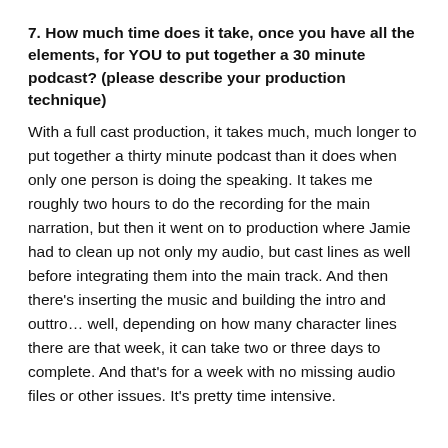7. How much time does it take, once you have all the elements, for YOU to put together a 30 minute podcast? (please describe your production technique)
With a full cast production, it takes much, much longer to put together a thirty minute podcast than it does when only one person is doing the speaking. It takes me roughly two hours to do the recording for the main narration, but then it went on to production where Jamie had to clean up not only my audio, but cast lines as well before integrating them into the main track. And then there's inserting the music and building the intro and outtro… well, depending on how many character lines there are that week, it can take two or three days to complete. And that's for a week with no missing audio files or other issues. It's pretty time intensive.